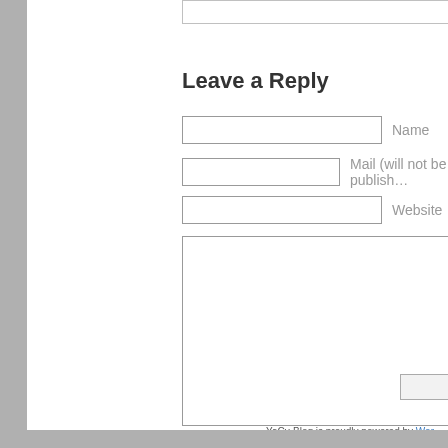Leave a Reply
Name
Mail (will not be published)
Website
YaCy-Blog is proudly powered by WordPress. Entries (RSS) and Comments (RSS).